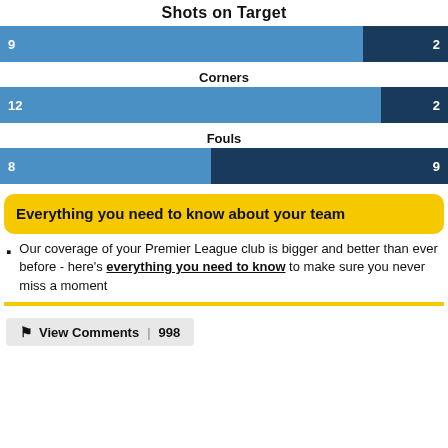Shots on Target
[Figure (bar-chart): Shots on Target]
Corners
[Figure (bar-chart): Corners]
Fouls
[Figure (bar-chart): Fouls]
Everything you need to know about your team
Our coverage of your Premier League club is bigger and better than ever before - here's everything you need to know to make sure you never miss a moment
View Comments | 998